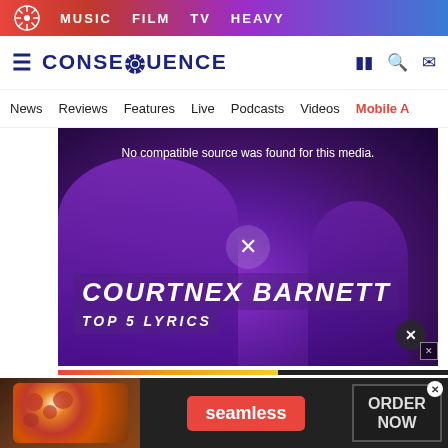MUSIC  FILM  TV  HEAVY
CONSEQUENCE
News  Reviews  Features  Live  Podcasts  Videos  Mobile A
[Figure (screenshot): Video player with purple-tinted photo of Courtney Barnett, showing text 'COURTNEY BARNETT TOP 5 LYRICS' overlaid. A notice reads 'No compatible source was found for this media.']
[Figure (photo): Advertisement for Seamless food delivery featuring pizza image, red Seamless button, and 'ORDER NOW' button on dark background]